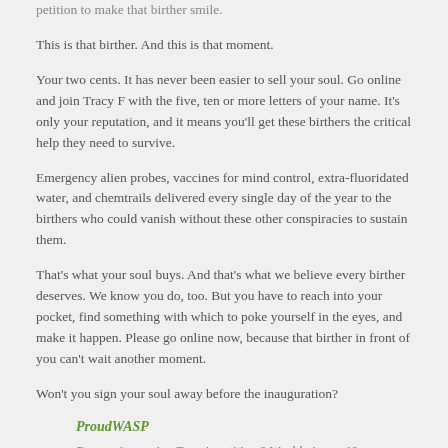petition to make that birther smile.
This is that birther. And this is that moment.
Your two cents. It has never been easier to sell your soul. Go online and join Tracy F with the five, ten or more letters of your name. It's only your reputation, and it means you'll get these birthers the critical help they need to survive.
Emergency alien probes, vaccines for mind control, extra-fluoridated water, and chemtrails delivered every single day of the year to the birthers who could vanish without these other conspiracies to sustain them.
That's what your soul buys. And that's what we believe every birther deserves. We know you do, too. But you have to reach into your pocket, find something with which to poke yourself in the eyes, and make it happen. Please go online now, because that birther in front of you can't wait another moment.
Won't you sign your soul away before the inauguration?
ProudWASP
But won't you sign Tracy's petition ? Would give us 19